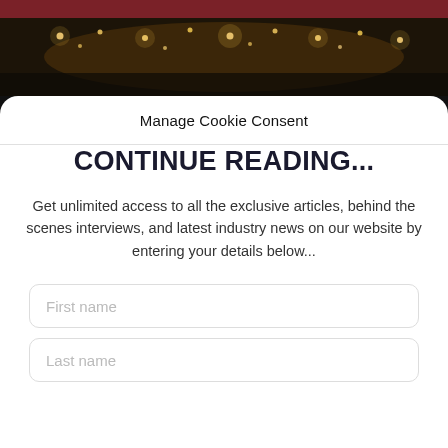[Figure (photo): Dark atmospheric photo of a restaurant or bar interior with warm string lights hanging from the ceiling against a dark background]
Manage Cookie Consent
CONTINUE READING...
Get unlimited access to all the exclusive articles, behind the scenes interviews, and latest industry news on our website by entering your details below...
First name
Last name